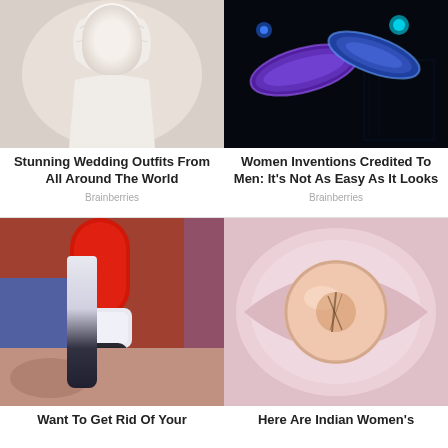[Figure (photo): Woman in white Japanese wedding outfit with white hood, red lips, holding a decorative item]
Stunning Wedding Outfits From All Around The World
Brainberries
[Figure (photo): 3D rendered glowing blue and purple chromosomes or bacteria on dark background with digital overlay]
Women Inventions Credited To Men: It's Not As Easy As It Looks
Brainberries
[Figure (photo): Close-up of a red and white electric device tool against skin with dark tattoo, removal device]
Want To Get Rid Of Your
[Figure (photo): Close-up of a pink rose or floral object resembling a medical or botanical specimen on pink tissue]
Here Are Indian Women's